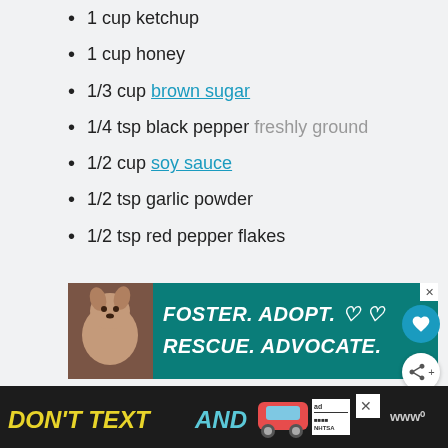1 cup ketchup
1 cup honey
1/3 cup brown sugar
1/4 tsp black pepper freshly ground
1/2 cup soy sauce
1/2 tsp garlic powder
1/2 tsp red pepper flakes
[Figure (illustration): Teal advertisement banner with dog image. Text: FOSTER. ADOPT. RESCUE. ADVOCATE. with heart symbols.]
[Figure (illustration): Black banner advertisement: DON'T TEXT AND [car emoji] with NHTSA logo and ad badge. Close button visible.]